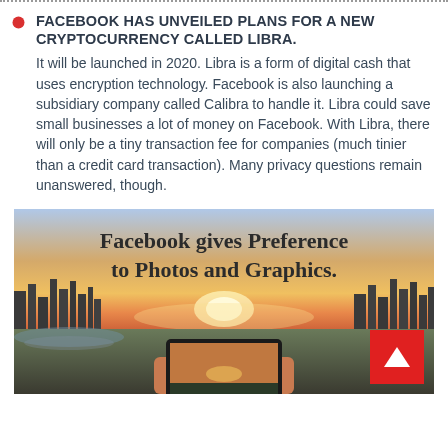FACEBOOK HAS UNVEILED PLANS FOR A NEW CRYPTOCURRENCY CALLED LIBRA. It will be launched in 2020. Libra is a form of digital cash that uses encryption technology. Facebook is also launching a subsidiary company called Calibra to handle it. Libra could save small businesses a lot of money on Facebook. With Libra, there will only be a tiny transaction fee for companies (much tinier than a credit card transaction). Many privacy questions remain unanswered, though.
[Figure (photo): Sunset cityscape photo with a person holding a smartphone/tablet photographing the city skyline. Overlaid text reads: 'Facebook gives Preference to Photos and Graphics.' Red button with white triangle (up arrow) in bottom right corner.]